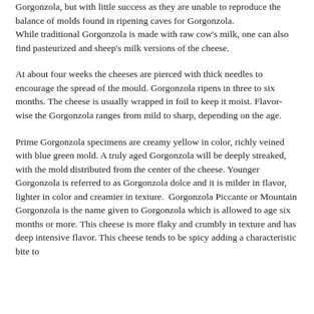Gorgonzola, but with little success as they are unable to reproduce the balance of molds found in ripening caves for Gorgonzola. While traditional Gorgonzola is made with raw cow's milk, one can also find pasteurized and sheep's milk versions of the cheese.
At about four weeks the cheeses are pierced with thick needles to encourage the spread of the mould. Gorgonzola ripens in three to six months. The cheese is usually wrapped in foil to keep it moist. Flavor-wise the Gorgonzola ranges from mild to sharp, depending on the age.
Prime Gorgonzola specimens are creamy yellow in color, richly veined with blue green mold. A truly aged Gorgonzola will be deeply streaked, with the mold distributed from the center of the cheese. Younger Gorgonzola is referred to as Gorgonzola dolce and it is milder in flavor, lighter in color and creamier in texture.  Gorgonzola Piccante or Mountain Gorgonzola is the name given to Gorgonzola which is allowed to age six months or more. This cheese is more flaky and crumbly in texture and has deep intensive flavor. This cheese tends to be spicy adding a characteristic bite to